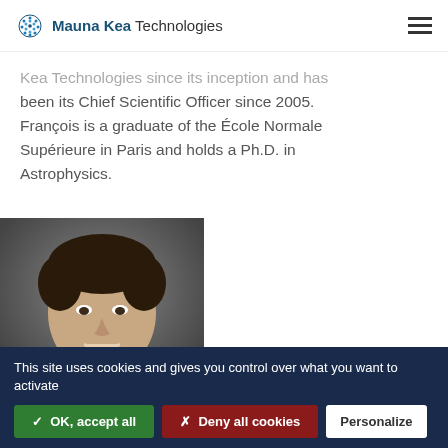Mauna Kea Technologies
Kea Technologies since its inception and has been its Chief Scientific Officer since 2005. François is a graduate of the École Normale Supérieure in Paris and holds a Ph.D. in Astrophysics.
[Figure (photo): Headshot photo of a smiling man with dark hair, professional portrait against a grey gradient background.]
This site uses cookies and gives you control over what you want to activate
✓ OK, accept all
✗ Deny all cookies
Personalize